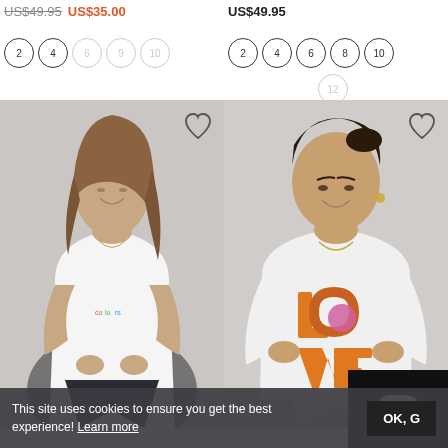US$49.95  US$35.00
US$49.95
Sizes left product: 2, 4, 6 (faded), 9 (faded), 10 (faded)
Sizes right product: 2, 4, 6, 8, 10, 12 (faded)
[Figure (photo): Woman wearing white graphic t-shirt with colorful text, dark jeans, hands at waist, grey background]
[Figure (photo): Plus-size woman wearing white long-sleeve shirt with large orange LOVE graphic, white pants, grey background]
This site uses cookies to ensure you get the best experience! Learn more
OK, G